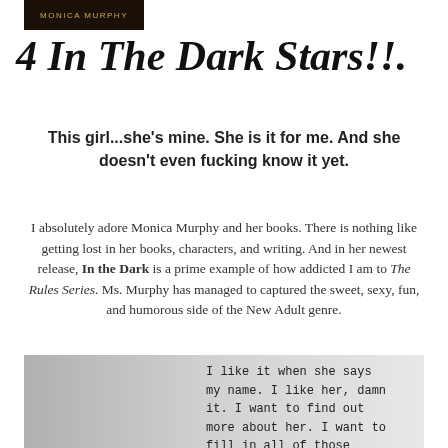[Figure (logo): Monica Murphy author logo — dark brown/black rectangle with gold uppercase lettering]
4 In The Dark Stars!!.
This girl...she's mine. She is it for me. And she doesn't even fucking know it yet.
I absolutely adore Monica Murphy and her books. There is nothing like getting lost in her books, characters, and writing. And in her newest release, In the Dark is a prime example of how addicted I am to The Rules Series. Ms. Murphy has managed to captured the sweet, sexy, fun, and humorous side of the New Adult genre.
[Figure (photo): Black and white photo of a young blond man in a tank top, looking downward. Overlaid typewriter-font text reads: I like it when she says my name. I like her, damn it. I want to find out more about her. I want to fill in all of those]